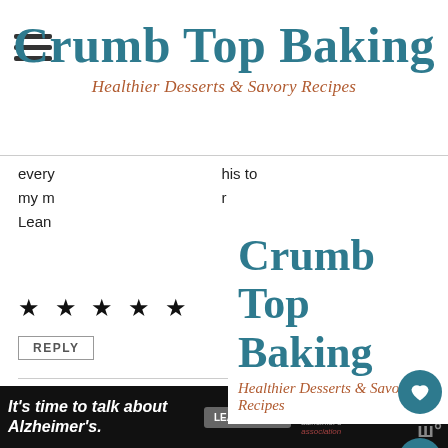Crumb Top Baking — Healthier Desserts & Savory Recipes
every... his to my m... Lean...
[Figure (other): Overlay logo popup showing Crumb Top Baking with subtitle Healthier Desserts & Savory Recipes]
★ ★ ★ ★ ★
REPLY
Leanne says
November 2, 2019 at 10:44 am
[Figure (photo): Profile photo of Leanne — woman with dark hair in business attire]
Haha! Me too! Thanks Kelsie!
WHAT'S NEXT → Lemon Garlic Pasta with...
It's time to talk about Alzheimer's. LEARN MORE alzheimer's association